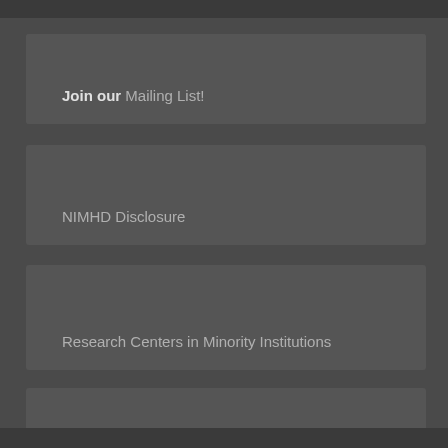Join our Mailing List!
NIMHD Disclosure
Research Centers in Minority Institutions
©2022 SDSU HealthLINK Center